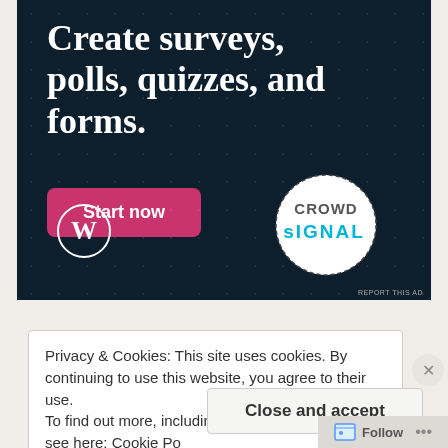[Figure (screenshot): Advertisement banner with dark navy background and dot pattern. Shows text 'Create surveys, polls, quizzes, and forms.' with a pink 'Start now' button, WordPress logo bottom-left, and Crowdsignal circular badge bottom-right.]
Privacy & Cookies: This site uses cookies. By continuing to use this website, you agree to their use.
To find out more, including how to control cookies, see here: Cookie Po...
Close and accept
Follow